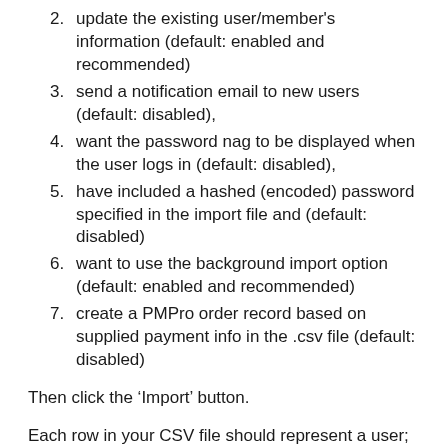2. update the existing user/member's information (default: enabled and recommended)
3. send a notification email to new users (default: disabled),
4. want the password nag to be displayed when the user logs in (default: disabled),
5. have included a hashed (encoded) password specified in the import file and (default: disabled)
6. want to use the background import option (default: enabled and recommended)
7. create a PMPro order record based on supplied payment info in the .csv file (default: disabled)
Then click the ‘Import’ button.
Each row in your CSV file should represent a user; each column identifies user data, user meta data or user membership data
If a column name matches a field in the user table,